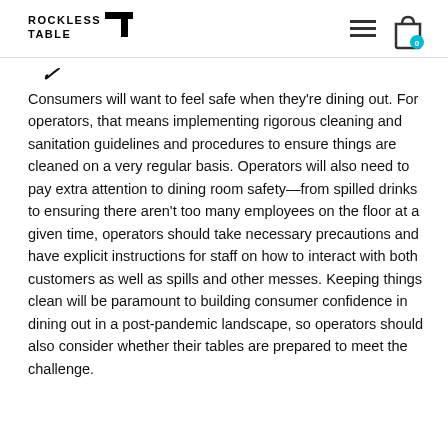ROCKLESS TABLE
Consumers will want to feel safe when they're dining out. For operators, that means implementing rigorous cleaning and sanitation guidelines and procedures to ensure things are cleaned on a very regular basis. Operators will also need to pay extra attention to dining room safety—from spilled drinks to ensuring there aren't too many employees on the floor at a given time, operators should take necessary precautions and have explicit instructions for staff on how to interact with both customers as well as spills and other messes. Keeping things clean will be paramount to building consumer confidence in dining out in a post-pandemic landscape, so operators should also consider whether their tables are prepared to meet the challenge.